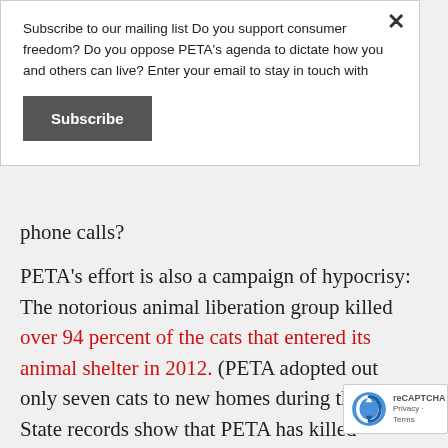Subscribe to our mailing list Do you support consumer freedom? Do you oppose PETA's agenda to dictate how you and others can live? Enter your email to stay in touch with
Subscribe
phone calls?
PETA's effort is also a campaign of hypocrisy: The notorious animal liberation group killed over 94 percent of the cats that entered its animal shelter in 2012. (PETA adopted out only seven cats to new homes during that year.) State records show that PETA has killed roughly 30,000 animals total since 1998, and the killing was so wanton a state investigator proposed reclassifying PETA's shel...
[Figure (other): reCAPTCHA badge with logo and Privacy · Terms text]